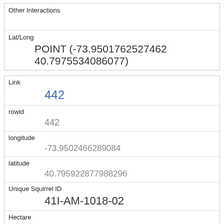| Other Interactions |  |
| Lat/Long | POINT (-73.9501762527462 40.7975534086077) |
| Link | 442 |
| rowid | 442 |
| longitude | -73.9502466289084 |
| latitude | 40.795922877988296 |
| Unique Squirrel ID | 41I-AM-1018-02 |
| Hectare | 41I |
| Shift | AM |
| Date | 10182018 |